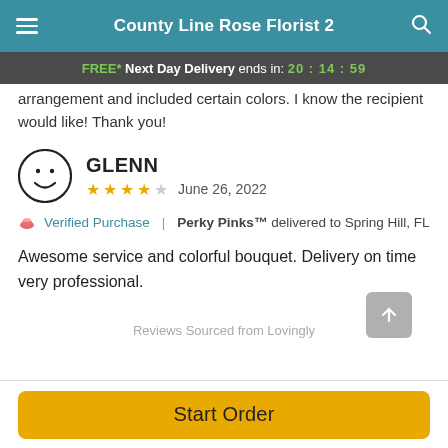County Line Rose Florist 2
FREE* Next Day Delivery ends in: 20:14:59
arrangement and included certain colors. I know the recipient would like! Thank you!
GLENN
★★★★☆ June 26, 2022
🌷 Verified Purchase | Perky Pinks™ delivered to Spring Hill, FL
Awesome service and colorful bouquet. Delivery on time very professional.
Reviews Sourced from Lovingly
Start Order